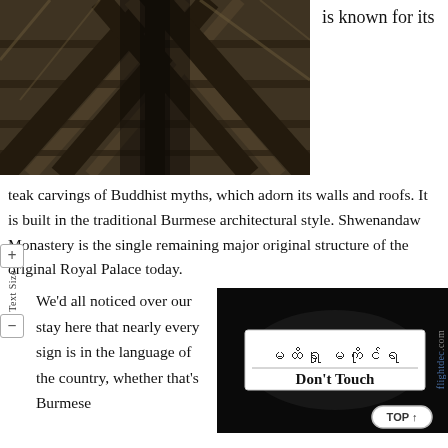[Figure (photo): Close-up photo of dark wooden teak carved ceiling/roof beams with geometric triangular patterns, characteristic of Burmese temple architecture]
is known for its
teak carvings of Buddhist myths, which adorn its walls and roofs. It is built in the traditional Burmese architectural style. Shwenandaw Monastery is the single remaining major original structure of the original Royal Palace today.
We'd all noticed over our stay here that nearly every sign is in the language of the country, whether that's Burmese
[Figure (photo): Photo of a bilingual sign in a dark setting showing Burmese script text above and bold English text reading 'Don't Touch' below, on a white rectangular sign]